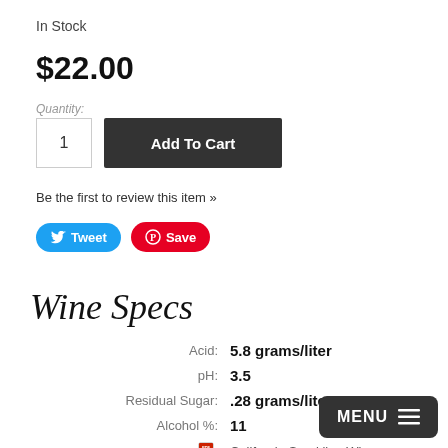In Stock
$22.00
Quantity:
1
Add To Cart
Be the first to review this item »
Tweet
Save
Wine Specs
| Label | Value |
| --- | --- |
| Acid: | 5.8 grams/liter |
| pH: | 3.5 |
| Residual Sugar: | .28 grams/liter |
| Alcohol %: | 11 |
|  | California Sparkling Wine |
MENU